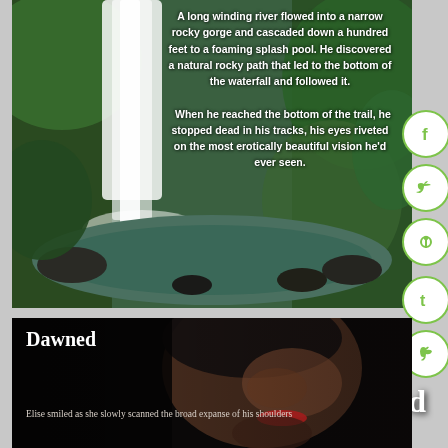[Figure (photo): Waterfall flowing into a rocky pool surrounded by green mossy rocks and forest, with white text overlay of a book excerpt and 'Dawned' title]
A long winding river flowed into a narrow rocky gorge and cascaded down a hundred feet to a foaming splash pool. He discovered a natural rocky path that led to the bottom of the waterfall and followed it. When he reached the bottom of the trail, he stopped dead in his tracks, his eyes riveted on the most erotically beautiful vision he'd ever seen.
Dawned
[Figure (photo): Close-up of a woman's face in dark lighting with red lips, book cover for 'Dawned']
Dawned
Elise smiled as she slowly scanned the broad expanse of his shoulders